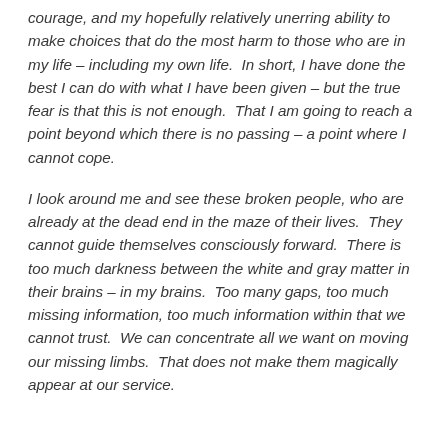courage, and my hopefully relatively unerring ability to make choices that do the most harm to those who are in my life – including my own life.  In short, I have done the best I can do with what I have been given – but the true fear is that this is not enough.  That I am going to reach a point beyond which there is no passing – a point where I cannot cope.
I look around me and see these broken people, who are already at the dead end in the maze of their lives.  They cannot guide themselves consciously forward.  There is too much darkness between the white and gray matter in their brains – in my brains.  Too many gaps, too much missing information, too much information within that we cannot trust.  We can concentrate all we want on moving our missing limbs.  That does not make them magically appear at our service.